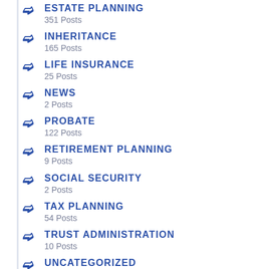ESTATE PLANNING
351 Posts
INHERITANCE
165 Posts
LIFE INSURANCE
25 Posts
NEWS
2 Posts
PROBATE
122 Posts
RETIREMENT PLANNING
9 Posts
SOCIAL SECURITY
2 Posts
TAX PLANNING
54 Posts
TRUST ADMINISTRATION
10 Posts
UNCATEGORIZED
3 Posts